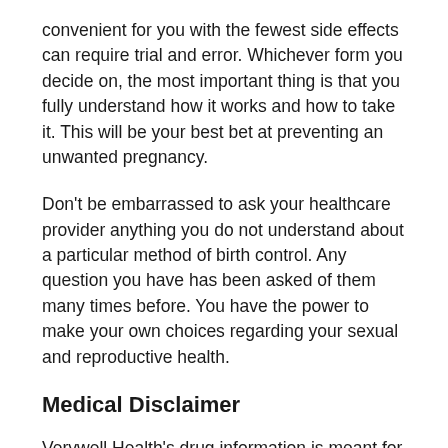convenient for you with the fewest side effects can require trial and error. Whichever form you decide on, the most important thing is that you fully understand how it works and how to take it. This will be your best bet at preventing an unwanted pregnancy.
Don't be embarrassed to ask your healthcare provider anything you do not understand about a particular method of birth control. Any question you have has been asked of them many times before. You have the power to make your own choices regarding your sexual and reproductive health.
Medical Disclaimer
Verywell Health's drug information is meant for educational purposes only and is not intended to replace medical advice, diagnosis, or treatment from